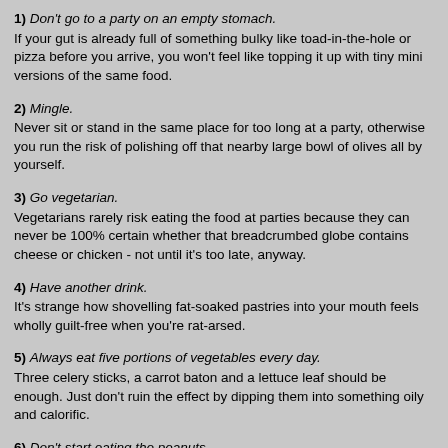1) Don't go to a party on an empty stomach. If your gut is already full of something bulky like toad-in-the-hole or pizza before you arrive, you won't feel like topping it up with tiny mini versions of the same food.
2) Mingle. Never sit or stand in the same place for too long at a party, otherwise you run the risk of polishing off that nearby large bowl of olives all by yourself.
3) Go vegetarian. Vegetarians rarely risk eating the food at parties because they can never be 100% certain whether that breadcrumbed globe contains cheese or chicken - not until it's too late, anyway.
4) Have another drink. It's strange how shovelling fat-soaked pastries into your mouth feels wholly guilt-free when you're rat-arsed.
5) Always eat five portions of vegetables every day. Three celery sticks, a carrot baton and a lettuce leaf should be enough. Just don't ruin the effect by dipping them into something oily and calorific.
6) Don't start eating the peanuts. Peanuts are more addictive than crack cocaine. Just one nibble...